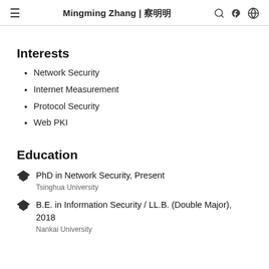≡   Mingming Zhang | 张明明   🔍  ☽  🌐
Interests
Network Security
Internet Measurement
Protocol Security
Web PKI
Education
PhD in Network Security, Present
Tsinghua University
B.E. in Information Security / LL.B. (Double Major), 2018
Nankai University